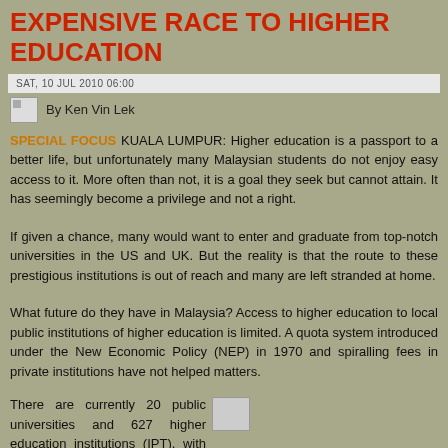EXPENSIVE RACE TO HIGHER EDUCATION
SAT, 10 JUL 2010 06:00
By Ken Vin Lek
SPECIAL FOCUS KUALA LUMPUR: Higher education is a passport to a better life, but unfortunately many Malaysian students do not enjoy easy access to it. More often than not, it is a goal they seek but cannot attain. It has seemingly become a privilege and not a right.
If given a chance, many would want to enter and graduate from top-notch universities in the US and UK. But the reality is that the route to these prestigious institutions is out of reach and many are left stranded at home.
What future do they have in Malaysia? Access to higher education to local public institutions of higher education is limited. A quota system introduced under the New Economic Policy (NEP) in 1970 and spiralling fees in private institutions have not helped matters.
There are currently 20 public universities and 627 higher education institutions (IPT), with Universiti Malaya being the oldest university in the country.
[Figure (photo): Small image placeholder next to article text]